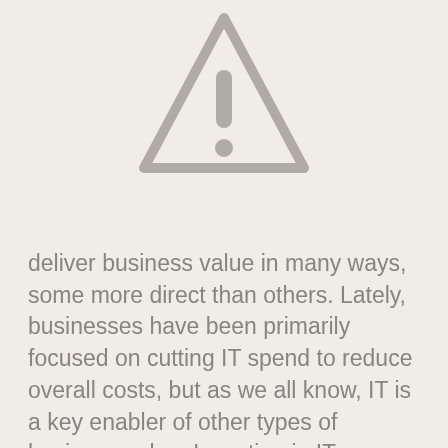[Figure (illustration): Warning triangle icon with exclamation mark, gray colored, centered at top of page]
deliver business value in many ways, some more direct than others. Lately, businesses have been primarily focused on cutting IT spend to reduce overall costs, but as we all know, IT is a key enabler of other types of business value. Investing in IT can generate cost savings in other parts of the company or increase revenue as well, through a variety of direct and indirect means. Lately, businesses have been forced to